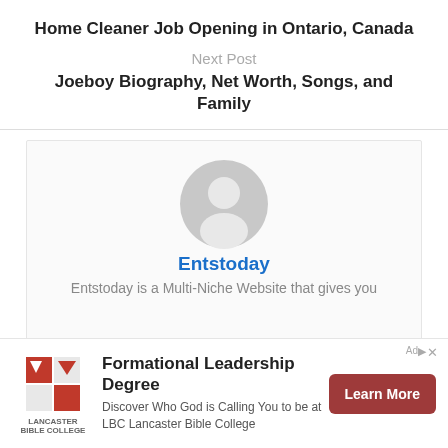Home Cleaner Job Opening in Ontario, Canada
Next Post
Joeboy Biography, Net Worth, Songs, and Family
[Figure (illustration): Author avatar placeholder — grey circle with white silhouette of a person, displayed inside a light-grey bordered card]
Entstoday
Entstoday is a Multi-Niche Website that gives you
[Figure (logo): Lancaster Bible College logo — red and white geometric design with text LANCASTER BIBLE COLLEGE below]
Formational Leadership Degree
Discover Who God is Calling You to be at LBC Lancaster Bible College
Learn More